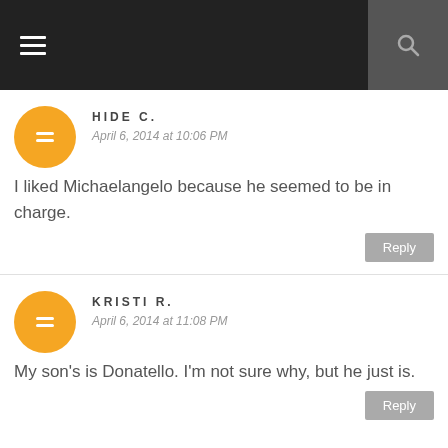HIDE C.
April 6, 2014 at 10:06 PM
I liked Michaelangelo because he seemed to be in charge.
KRISTI R.
April 6, 2014 at 11:08 PM
My son's is Donatello. I'm not sure why, but he just is.